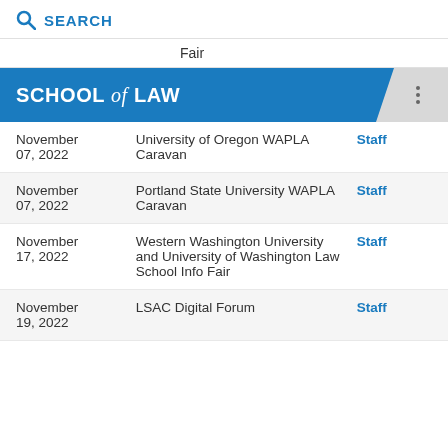SEARCH
Fair
SCHOOL of LAW
| Date | Event | Access |
| --- | --- | --- |
| November 07, 2022 | University of Oregon WAPLA Caravan | Staff |
| November 07, 2022 | Portland State University WAPLA Caravan | Staff |
| November 17, 2022 | Western Washington University and University of Washington Law School Info Fair | Staff |
| November 19, 2022 | LSAC Digital Forum | Staff |